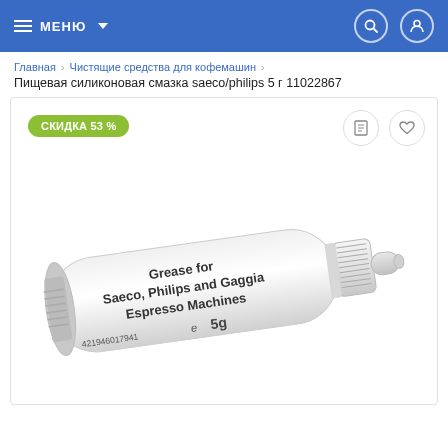МЕНЮ
Главная › Чистящие средства для кофемашин ›
Пищевая силиконовая смазка saeco/philips 5 г 11022867
[Figure (photo): White tube of grease for Saeco, Philips and Gaggia Espresso Machines, 5g, labeled with text and barcode 421946017941]
СКИДКА 53 %